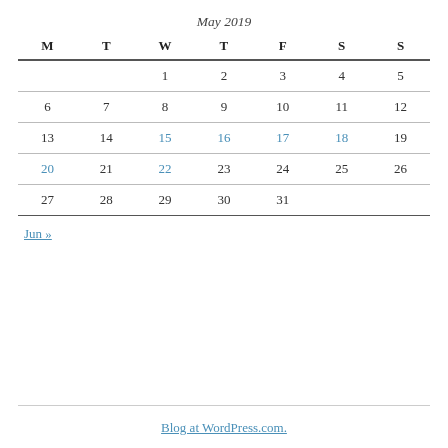May 2019
| M | T | W | T | F | S | S |
| --- | --- | --- | --- | --- | --- | --- |
|  |  | 1 | 2 | 3 | 4 | 5 |
| 6 | 7 | 8 | 9 | 10 | 11 | 12 |
| 13 | 14 | 15 | 16 | 17 | 18 | 19 |
| 20 | 21 | 22 | 23 | 24 | 25 | 26 |
| 27 | 28 | 29 | 30 | 31 |  |  |
Jun »